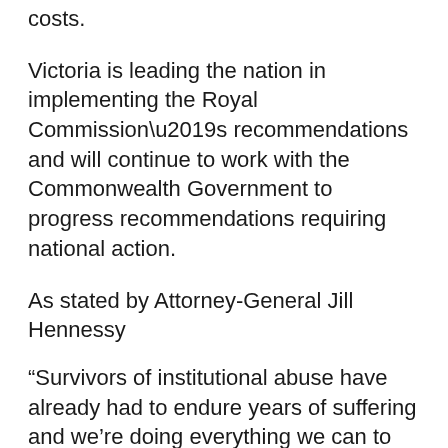costs.
Victoria is leading the nation in implementing the Royal Commission’s recommendations and will continue to work with the Commonwealth Government to progress recommendations requiring national action.
As stated by Attorney-General Jill Hennessy
“Survivors of institutional abuse have already had to endure years of suffering and we’re doing everything we can to support them, and to make sure they have access to the compensation they deserve.”
“Many victim survivors were pushed into the compensation…